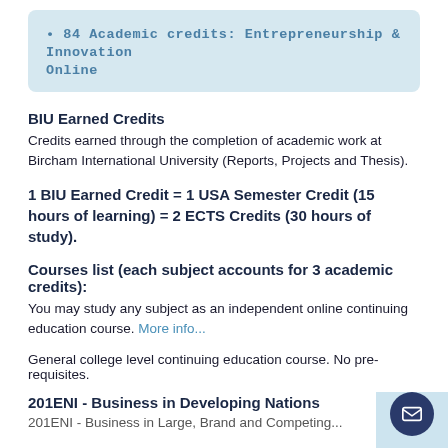• 84 Academic credits: Entrepreneurship & Innovation Online
BIU Earned Credits
Credits earned through the completion of academic work at Bircham International University (Reports, Projects and Thesis).
1 BIU Earned Credit = 1 USA Semester Credit (15 hours of learning) = 2 ECTS Credits (30 hours of study).
Courses list (each subject accounts for 3 academic credits):
You may study any subject as an independent online continuing education course. More info...
General college level continuing education course. No pre-requisites.
201ENI - Business in Developing Nations
201ENI - Business in Large, Brand and Competing...